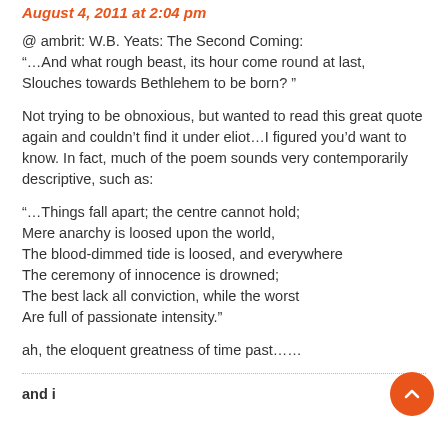August 4, 2011 at 2:04 pm
@ ambrit: W.B. Yeats: The Second Coming:
“…And what rough beast, its hour come round at last,
Slouches towards Bethlehem to be born? ”
Not trying to be obnoxious, but wanted to read this great quote again and couldn’t find it under eliot…I figured you’d want to know. In fact, much of the poem sounds very contemporarily descriptive, such as:
“…Things fall apart; the centre cannot hold;
Mere anarchy is loosed upon the world,
The blood-dimmed tide is loosed, and everywhere
The ceremony of innocence is drowned;
The best lack all conviction, while the worst
Are full of passionate intensity.”
ah, the eloquent greatness of time past……
and i